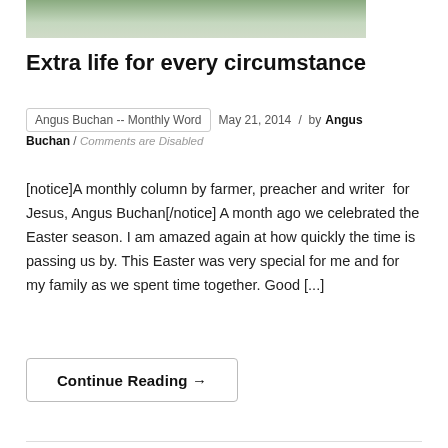[Figure (photo): Partial photo showing bottom portion of an image, cropped at top of page]
Extra life for every circumstance
Angus Buchan -- Monthly Word  /  May 21, 2014  /  by Angus Buchan  /  Comments are Disabled
[notice]A monthly column by farmer, preacher and writer for Jesus, Angus Buchan[/notice] A month ago we celebrated the Easter season. I am amazed again at how quickly the time is passing us by. This Easter was very special for me and for my family as we spent time together. Good [...]
Continue Reading →